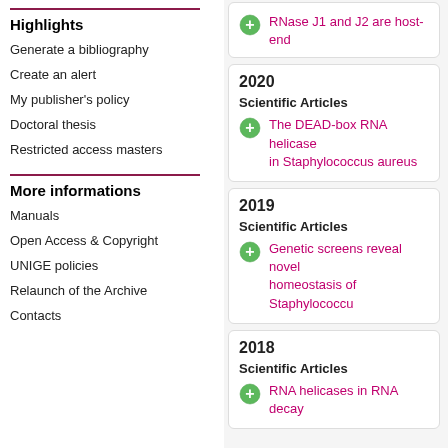Highlights
Generate a bibliography
Create an alert
My publisher's policy
Doctoral thesis
Restricted access masters
More informations
Manuals
Open Access & Copyright
UNIGE policies
Relaunch of the Archive
Contacts
RNase J1 and J2 are host-end
2020
Scientific Articles
The DEAD-box RNA helicase in Staphylococcus aureus
2019
Scientific Articles
Genetic screens reveal novel homeostasis of Staphylococcus
2018
Scientific Articles
RNA helicases in RNA decay